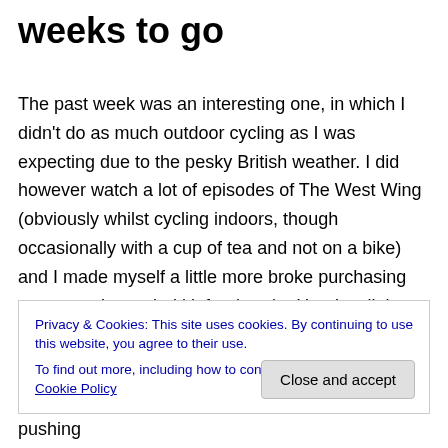weeks to go
The past week was an interesting one, in which I didn't do as much outdoor cycling as I was expecting due to the pesky British weather.  I did however watch a lot of episodes of The West Wing (obviously whilst cycling indoors, though occasionally with a cup of tea and not on a bike) and I made myself a little more broke purchasing some much-needed kit for the trip.  Here's a little round-up of what I got up to last week:
Monday 10th June
Privacy & Cookies: This site uses cookies. By continuing to use this website, you agree to their use.
To find out more, including how to control cookies, see here: Cookie Policy
manage.  I did an hour before I ran out of energy, pushing